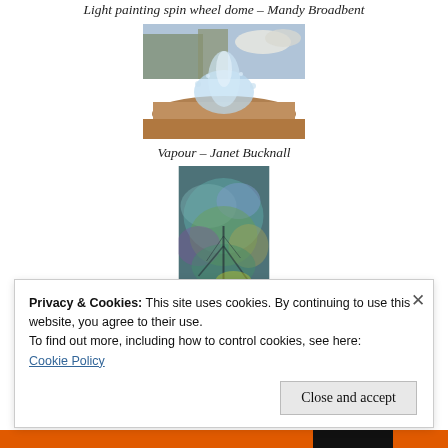Light painting spin wheel dome – Mandy Broadbent
[Figure (photo): Outdoor fountain with water splashing over a wide basin, cobblestone ground, buildings in background, vibrant colors]
Vapour – Janet Bucknall
[Figure (photo): Abstract colorful artwork with teal, green, yellow, purple hues resembling an abstract tree or landscape]
Privacy & Cookies: This site uses cookies. By continuing to use this website, you agree to their use.
To find out more, including how to control cookies, see here:
Cookie Policy
Close and accept